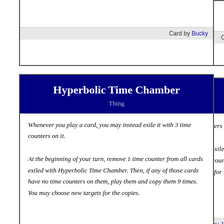Card by Bucky
Hyperbolic Time Chamber
Thing
Whenever you play a card, you may instead exile it with 3 time counters on it. At the beginning of your turn, remove 1 time counter from all cards exiled with Hyperbolic Time Chamber. Then, if any of those cards have no time counters on them, play them and copy them 9 times. You may choose new targets for the copies.
Card by JakeTheWolfie
Latticeworks Corruption
Thing - Lattice